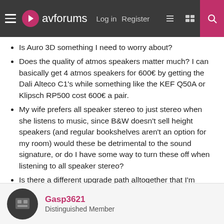avforums — Log in  Register
Is Auro 3D something I need to worry about?
Does the quality of atmos speakers matter much? I can basically get 4 atmos speakers for 600€ by getting the Dali Alteco C1's while something like the KEF Q50A or Klipsch RP500 cost 600€ a pair.
My wife prefers all speaker stereo to just stereo when she listens to music, since B&W doesn't sell height speakers (and regular bookshelves aren't an option for my room) would these be detrimental to the sound signature, or do I have some way to turn these off when listening to all speaker stereo?
Is there a different upgrade path alltogether that I'm missing?
Gasp3621 — Distinguished Member